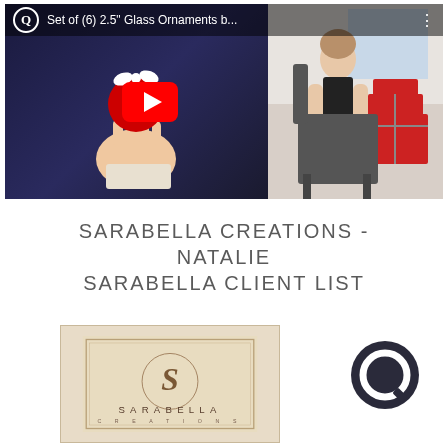[Figure (screenshot): YouTube video thumbnail showing two panels: left panel shows a hand holding a red Christmas ornament with a white bow on a dark blue background with a YouTube play button overlay; right panel shows a woman in black sitting with red gift boxes. Top bar shows Q logo and title 'Set of (6) 2.5" Glass Ornaments b...']
SARABELLA CREATIONS - NATALIE SARABELLA CLIENT LIST
[Figure (logo): Sarabella Creations logo on aged parchment background with ornate S lettermark and text SARABELLA CREATIONS]
[Figure (logo): Q circular dark icon logo on the right side]